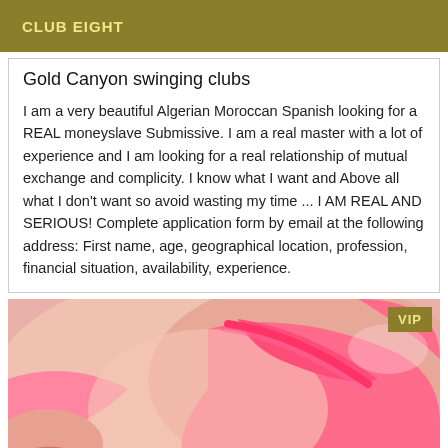CLUB EIGHT
Gold Canyon swinging clubs
I am a very beautiful Algerian Moroccan Spanish looking for a REAL moneyslave Submissive. I am a real master with a lot of experience and I am looking for a real relationship of mutual exchange and complicity. I know what I want and Above all what I don't want so avoid wasting my time ... I AM REAL AND SERIOUS! Complete application form by email at the following address: First name, age, geographical location, profession, financial situation, availability, experience.
[Figure (photo): Close-up photo of a person with pink clothing/accessories]